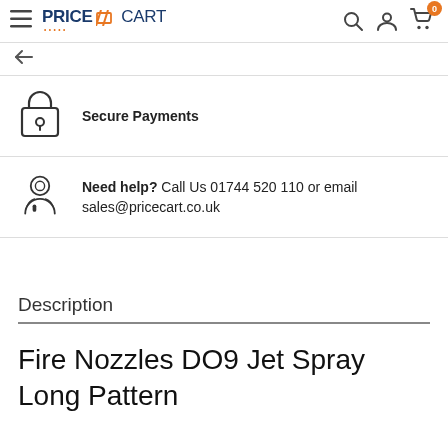PriceCart — navigation bar with logo, search, account, and cart icons
Secure Payments
Need help? Call Us 01744 520 110 or email sales@pricecart.co.uk
Description
Fire Nozzles DO9 Jet Spray Long Pattern